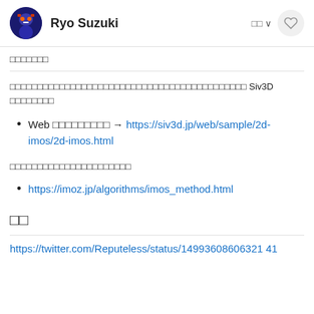Ryo Suzuki
□□□□□□□
□□□□□□□□□□□□□□□□□□□□□□□□□□□□□□□□□□□□□□□□□□□ Siv3D □□□□□□□□
Web □□□□□□□□□ → https://siv3d.jp/web/sample/2d-imos/2d-imos.html
□□□□□□□□□□□□□□□□□□□□□□
https://imoz.jp/algorithms/imos_method.html
□□
https://twitter.com/Reputeless/status/14993608606321 41